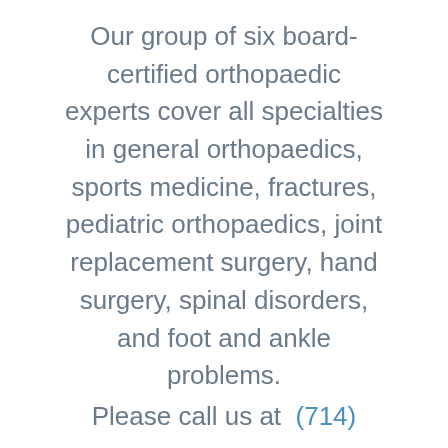Our group of six board-certified orthopaedic experts cover all specialties in general orthopaedics, sports medicine, fractures, pediatric orthopaedics, joint replacement surgery, hand surgery, spinal disorders, and foot and ankle problems.
Please call us at  (714) 953-7200 to schedule...